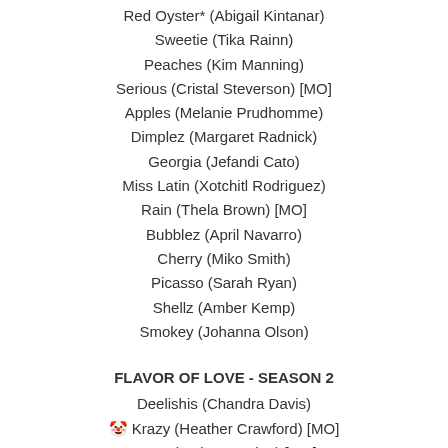Red Oyster* (Abigail Kintanar)
Sweetie (Tika Rainn)
Peaches (Kim Manning)
Serious (Cristal Steverson) [MO]
Apples (Melanie Prudhomme)
Dimplez (Margaret Radnick)
Georgia (Jefandi Cato)
Miss Latin (Xotchitl Rodriguez)
Rain (Thela Brown) [MO]
Bubblez (April Navarro)
Cherry (Miko Smith)
Picasso (Sarah Ryan)
Shellz (Amber Kemp)
Smokey (Johanna Olson)
FLAVOR OF LOVE - SEASON 2
Deelishis (Chandra Davis)
🤡 Krazy (Heather Crawford) [MO]
Bootz (Larissa Hodge) [MO]
Buckeey (Shay Johnson) [MO]
Buckwild (Becky Johnston) [MO]
Nibblz (Domenique Majors)